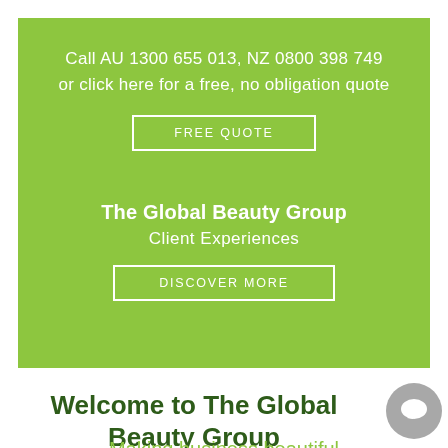Call AU 1300 655 013, NZ 0800 398 749
or click here for a free, no obligation quote
FREE QUOTE
The Global Beauty Group
Client Experiences
DISCOVER MORE
Welcome to The Global Beauty Group
Making business beautiful